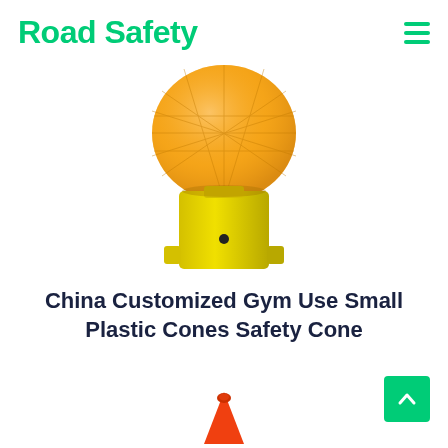Road Safety
[Figure (photo): A yellow and orange road safety barricade light / warning beacon with an orange spherical lens on top and a yellow rectangular base with a small button.]
China Customized Gym Use Small Plastic Cones Safety Cone
[Figure (photo): Top portion of an orange plastic safety cone visible at the bottom of the page.]